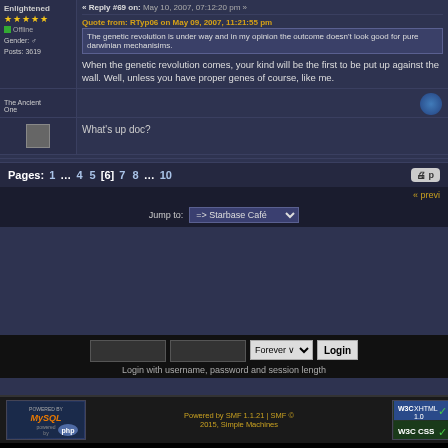« Reply #69 on: May 10, 2007, 07:12:20 pm »
Enlightened
Offline
Gender: ♂
Posts: 3619
Quote from: RTyp06 on May 09, 2007, 11:21:55 pm
The genetic revolution is under way and in my opinion the outcome doesn't look good for pure darwinian mechanisims.
When the genetic revolution comes, your kind will be the first to be put up against the wall. Well, unless you have proper genes of course, like me.
The Ancient One
What's up doc?
Pages: 1 … 4 5 [6] 7 8 … 10
« previ
Jump to: => Starbase Café
Login with username, password and session length
Powered by SMF 1.1.21 | SMF © 2015, Simple Machines